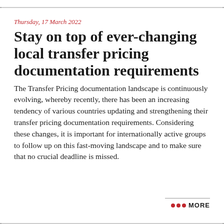· · · · · · · · · · · · · · · · · · · · · · · · · · · · · · · · · · · · · · · · · · · · · · · · · · · · · · · · · · · · · · · · · ·
Thursday, 17 March 2022
Stay on top of ever-changing local transfer pricing documentation requirements
The Transfer Pricing documentation landscape is continuously evolving, whereby recently, there has been an increasing tendency of various countries updating and strengthening their transfer pricing documentation requirements. Considering these changes, it is important for internationally active groups to follow up on this fast-moving landscape and to make sure that no crucial deadline is missed.
••• MORE
· · · · · · · · · · · · · · · · · · · · · · · · · · · · · · · · · · · · · · · · · · · · · · · · · · · · · · · · · · · · · · · · · ·